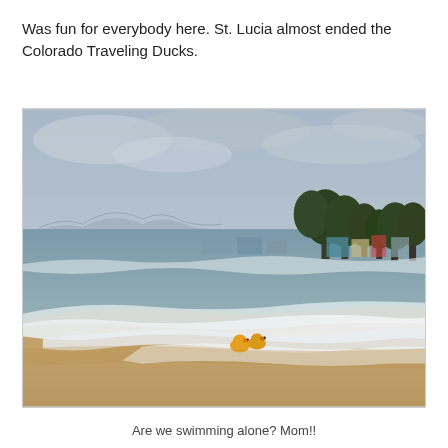Was fun for everybody here.  St. Lucia almost ended the Colorado Traveling Ducks.
[Figure (photo): A beach scene in St. Lucia with rough ocean waves washing up on sandy shore. Two small rubber ducks are visible in the surf near the waterline. Trees and buildings are visible in the background under an overcast sky.]
Are we swimming alone? Mom!!